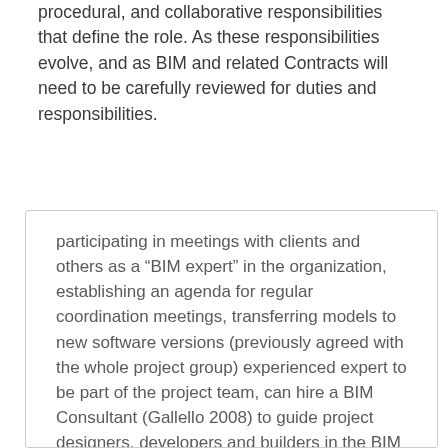procedural, and collaborative responsibilities that define the role. As these responsibilities evolve, and as BIM and related Contracts will need to be carefully reviewed for duties and responsibilities.
participating in meetings with clients and others as a “BIM expert” in the organization, establishing an agenda for regular coordination meetings, transferring models to new software versions (previously agreed with the whole project group) experienced expert to be part of the project team, can hire a BIM Consultant (Gallello 2008) to guide project designers, developers and builders in the BIM implementation. There may be three types of BIM Consultant : Strategic Consultant , Functional Consultant and The BIM Specialist